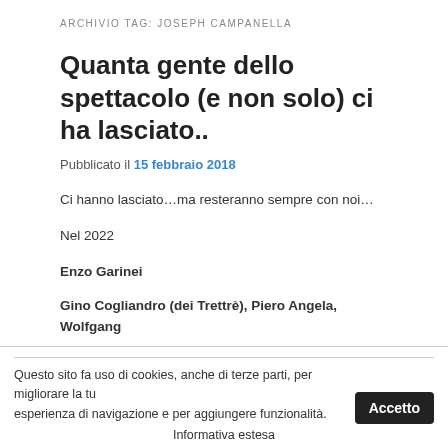ARCHIVIO TAG: JOSEPH CAMPANELLA
Quanta gente dello spettacolo (e non solo) ci ha lasciato..
Pubblicato il 15 febbraio 2018
Ci hanno lasciato…ma resteranno sempre con noi…
Nel 2022
Enzo Garinei
Gino Cogliandro (dei Trettrè), Piero Angela, Wolfgang
Questo sito fa uso di cookies, anche di terze parti, per migliorare la tua esperienza di navigazione e per aggiungere funzionalità.
Informativa estesa